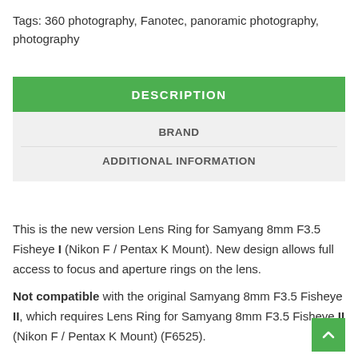Tags: 360 photography, Fanotec, panoramic photography, photography
DESCRIPTION
BRAND
ADDITIONAL INFORMATION
This is the new version Lens Ring for Samyang 8mm F3.5 Fisheye I (Nikon F / Pentax K Mount). New design allows full access to focus and aperture rings on the lens.

Not compatible with the original Samyang 8mm F3.5 Fisheye II, which requires Lens Ring for Samyang 8mm F3.5 Fisheye II (Nikon F / Pentax K Mount) (F6525).